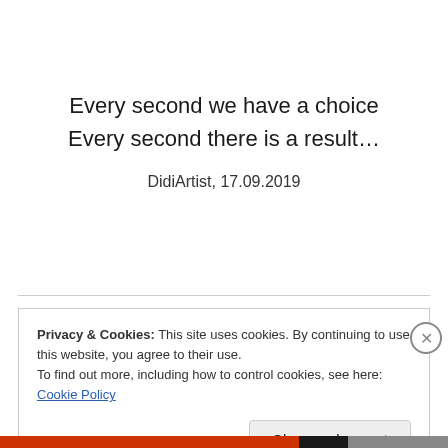Every second we have a choice
Every second there is a result…
DidiArtist, 17.09.2019
Privacy & Cookies: This site uses cookies. By continuing to use this website, you agree to their use.
To find out more, including how to control cookies, see here: Cookie Policy
Close and accept